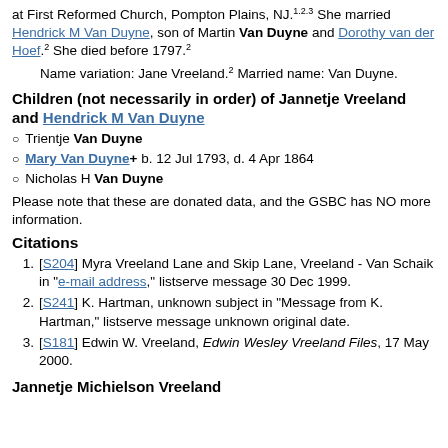at First Reformed Church, Pompton Plains, NJ.[1][2][3] She married Hendrick M Van Duyne, son of Martin Van Duyne and Dorothy van der Hoef.[2] She died before 1797.[2]
Name variation: Jane Vreeland.[2] Married name: Van Duyne.
Children (not necessarily in order) of Jannetje Vreeland and Hendrick M Van Duyne
Trientje Van Duyne
Mary Van Duyne+ b. 12 Jul 1793, d. 4 Apr 1864
Nicholas H Van Duyne
Please note that these are donated data, and the GSBC has NO more information.
Citations
[S204] Myra Vreeland Lane and Skip Lane, Vreeland - Van Schaik in "e-mail address," listserve message 30 Dec 1999.
[S241] K. Hartman, unknown subject in "Message from K. Hartman," listserve message unknown original date.
[S181] Edwin W. Vreeland, Edwin Wesley Vreeland Files, 17 May 2000.
Jannetje Michielson Vreeland